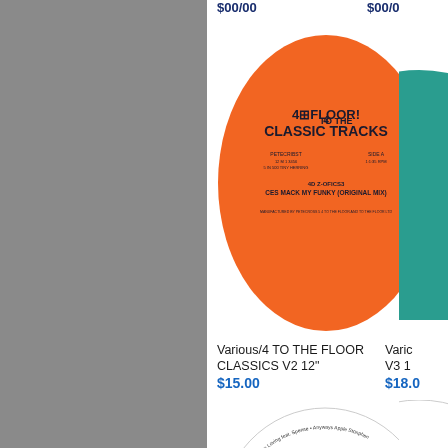$00/00
$00/0
[Figure (illustration): Orange oval vinyl record label for '4 TO THE FLOOR CLASSIC TRACKS' with text including 'PETECRIST', 'DIE A', '4D Z-OFICS3', 'CES MACK MY FUNKY (ORIGINAL MIX)']
Various/4 TO THE FLOOR CLASSICS V2 12"
$15.00
[Figure (illustration): Teal/dark cyan circular vinyl record label partially visible on right side]
Varic V3 1
$18.0
[Figure (illustration): White vinyl record label with green frog/toad illustration and text '415-PR11 REMIX' with circular text around the edge]
Various/415-PR11 REMIX EP 12"
[Figure (illustration): Partial circular vinyl record label partially visible at lower right]
Varic